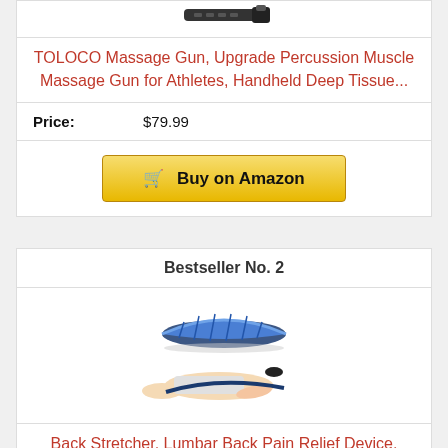[Figure (photo): Top portion of a massage gun product image (cropped)]
TOLOCO Massage Gun, Upgrade Percussion Muscle Massage Gun for Athletes, Handheld Deep Tissue...
Price: $79.99
Buy on Amazon
Bestseller No. 2
[Figure (photo): Back stretcher product image — a curved lumbar support device and a person lying on it]
Back Stretcher, Lumbar Back Pain Relief Device, Multi-Level Back Massager Lumbar, Pain Relief for...